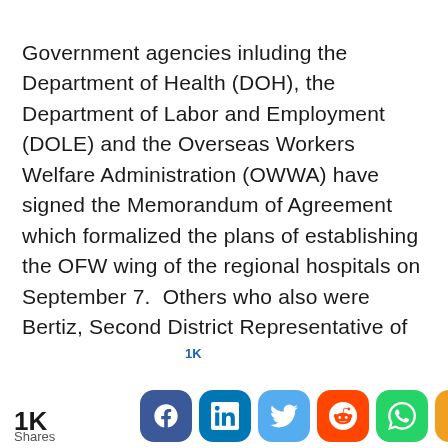Government agencies inluding the Department of Health (DOH), the Department of Labor and Employment (DOLE) and the Overseas Workers Welfare Administration (OWWA) have signed the Memorandum of Agreement which formalized the plans of establishing the OFW wing of the regional hospitals on September 7.  Others who also were Bertiz, Second District Representative of Pampanga Gloria Macapagal-Arroyo and Governor Lilia Pineda.
1K Shares